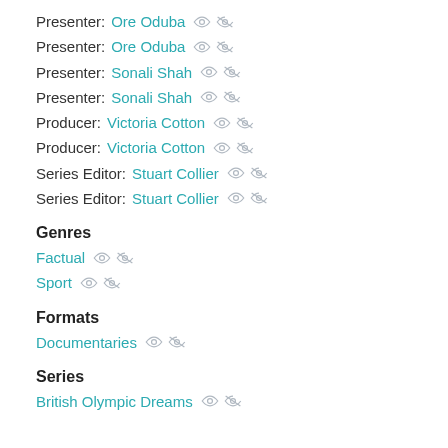Presenter: Ore Oduba
Presenter: Ore Oduba
Presenter: Sonali Shah
Presenter: Sonali Shah
Producer: Victoria Cotton
Producer: Victoria Cotton
Series Editor: Stuart Collier
Series Editor: Stuart Collier
Genres
Factual
Sport
Formats
Documentaries
Series
British Olympic Dreams